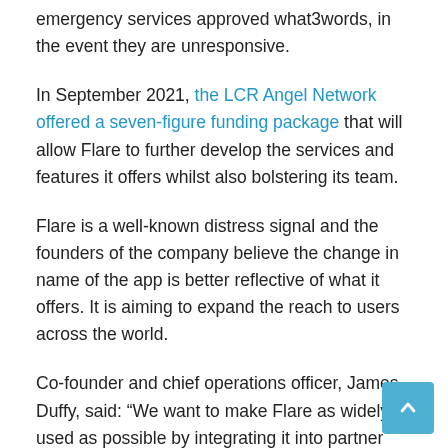emergency services approved what3words, in the event they are unresponsive.
In September 2021, the LCR Angel Network offered a seven-figure funding package that will allow Flare to further develop the services and features it offers whilst also bolstering its team.
Flare is a well-known distress signal and the founders of the company believe the change in name of the app is better reflective of what it offers. It is aiming to expand the reach to users across the world.
Co-founder and chief operations officer, James Duffy, said: “We want to make Flare as widely used as possible by integrating it into partner apps across the world. We want people to think or know of Flare as ‘the technology for protection.”
With users in more than 129 countries, the goal is to